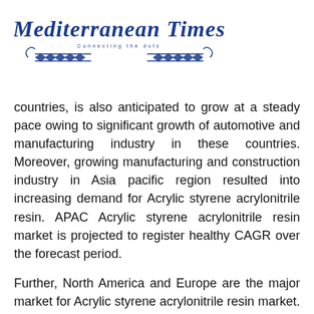[Figure (logo): Mediterranean Times newspaper masthead logo with decorative blue text and ornamental lines]
countries, is also anticipated to grow at a steady pace owing to significant growth of automotive and manufacturing industry in these countries. Moreover, growing manufacturing and construction industry in Asia pacific region resulted into increasing demand for Acrylic styrene acrylonitrile resin. APAC Acrylic styrene acrylonitrile resin market is projected to register healthy CAGR over the forecast period.
Further, North America and Europe are the major market for Acrylic styrene acrylonitrile resin market. In Latin America and Middle East & Africa region, Acrylic styrene acrylonitrile resin market is anticipated to register slow growth over the forecast period